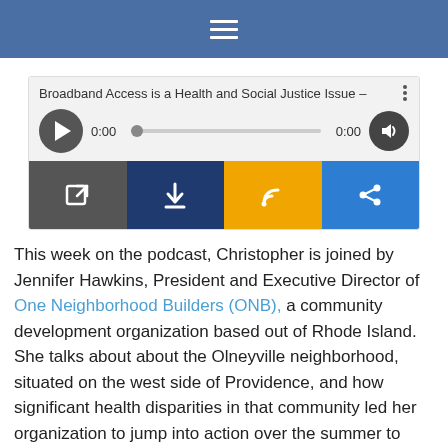[Figure (screenshot): Blue top navigation bar with white hamburger (three-line) menu icon centered]
[Figure (screenshot): Audio podcast player widget showing title 'Broadband Access is a Health and Social Justice Issue -', play button, time 0:00, progress bar, volume button, and four action buttons: open/external link (gray), download (dark blue), RSS feed (orange), share (blue)]
This week on the podcast, Christopher is joined by Jennifer Hawkins, President and Executive Director of One Neighborhood Builders (ONB), a community development organization based out of Rhode Island. She talks about about the Olneyville neighborhood, situated on the west side of Providence, and how significant health disparities in that community led her organization to jump into action over the summer to build a free wireless